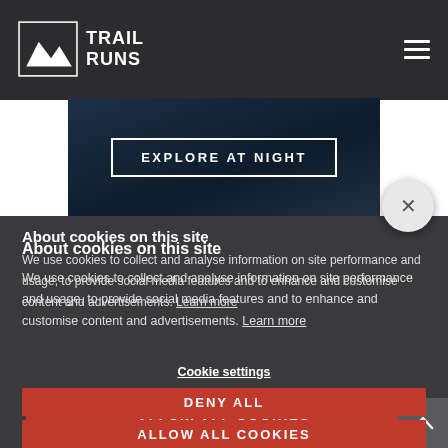[Figure (logo): Trail Runs logo with mountain icon and text TRAIL RUNS]
[Figure (screenshot): Website screenshot showing EXPLORE AT NIGHT button on dark hero image with cookie consent overlay, DENY ALL and ALLOW ALL COOKIES buttons]
About cookies on this site
We use cookies to collect and analyse information on site performance and usage, to provide social media features and to enhance and customise content and advertisements. Learn more
Cookie settings
DENY ALL
ALLOW ALL COOKIES